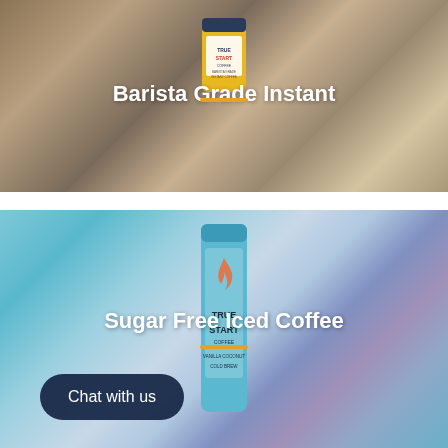[Figure (photo): Person holding a yellow TrueStart Coffee Barista Grade Instant Coffee can with pink-painted nails, wearing a knit sweater.]
Barista Grade Instant
[Figure (photo): Person holding a blue TrueStart Coffee Vanilla Coconut Cold Brew can with pink-painted nails, in front of a patterned blue background.]
Sugar Free Iced Coffee
Chat with us